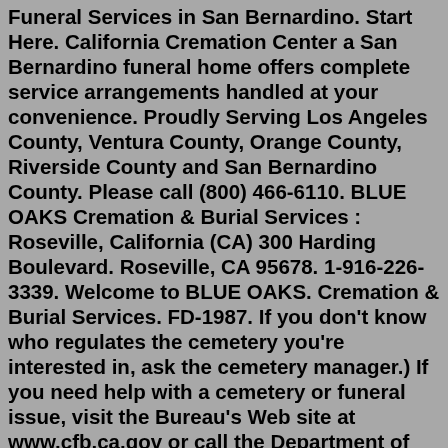Funeral Services in San Bernardino. Start Here. California Cremation Center a San Bernardino funeral home offers complete service arrangements handled at your convenience. Proudly Serving Los Angeles County, Ventura County, Orange County, Riverside County and San Bernardino County. Please call (800) 466-6110. BLUE OAKS Cremation & Burial Services : Roseville, California (CA) 300 Harding Boulevard. Roseville, CA 95678. 1-916-226-3339. Welcome to BLUE OAKS. Cremation & Burial Services. FD-1987. If you don't know who regulates the cemetery you're interested in, ask the cemetery manager.) If you need help with a cemetery or funeral issue, visit the Bureau's Web site at www.cfb.ca.gov or call the Department of Consumer Affairs' Consumer Information Center at (800) 952-5210 or the Bureau at (916) 574-7870. Sierra Cremation and Burial Services FD#2397. Simple Cremation Packages Starting at $995, We Focus on Low Cost Funeral Arrangements with Dignity and Affordability. Sierra Cremation and Burial Services FD#2397.